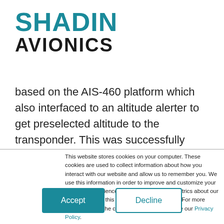[Figure (logo): Shadin Avionics logo — SHADIN in teal/dark-cyan bold uppercase, AVIONICS in black bold uppercase below]
based on the AIS-460 platform which also interfaced to an altitude alerter to get preselected altitude to the transponder. This was successfully
This website stores cookies on your computer. These cookies are used to collect information about how you interact with our website and allow us to remember you. We use this information in order to improve and customize your browsing experience and for analytics and metrics about our visitors both on this website and other media. For more information on the cookies we use, please see our Privacy Policy.
If you decline, your information won't be tracked when you visit this website. A single cookie will be used in your browser to remember your preference not to be tracked.